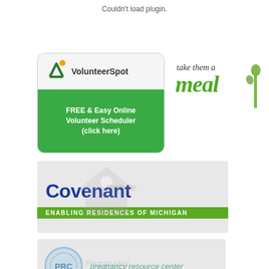Couldn't load plugin.
[Figure (logo): VolunteerSpot logo with green banner reading FREE & Easy Online Volunteer Scheduler (click here)]
[Figure (logo): take them a meal logo with green cursive text and asparagus illustration]
[Figure (logo): Covenant Enabling Residences of Michigan logo with photobucket watermark]
[Figure (logo): PRC Pregnancy Resource Center logo with photobucket watermark]